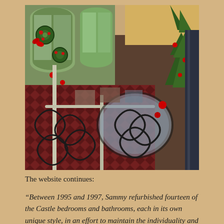[Figure (photo): Interior photograph of a castle or historic hotel venue decorated for Christmas, showing ornate wrought-iron railings with scrollwork, Christmas wreaths with red bows and ornaments hanging on tall arched windows, a Christmas tree on the right side, patterned carpet flooring, and restaurant/dining chairs visible in the background.]
The website continues:
“Between 1995 and 1997, Sammy refurbished fourteen of the Castle bedrooms and bathrooms, each in its own unique style, in an effort to maintain the individuality and